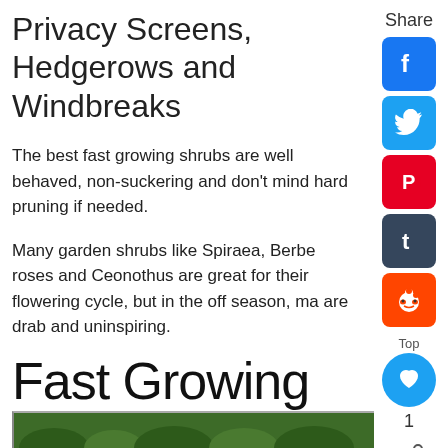Privacy Screens, Hedgerows and Windbreaks
The best fast growing shrubs are well behaved, non-suckering and don't mind hard pruning if needed.
Many garden shrubs like Spiraea, Berbe roses and Ceonothus are great for their flowering cycle, but in the off season, ma are drab and uninspiring.
Fast Growing Shrubs
[Figure (photo): Bottom edge of a photo showing green plant foliage]